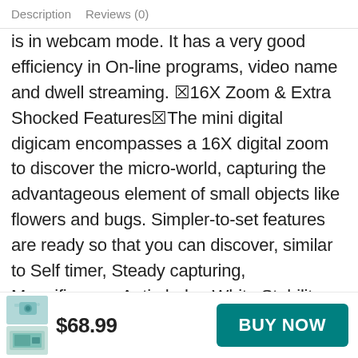Description   Reviews (0)
is in webcam mode. It has a very good efficiency in On-line programs, video name and dwell streaming. 🔲16X Zoom & Extra Shocked Features🔲The mini digital digicam encompasses a 16X digital zoom to discover the micro-world, capturing the advantageous element of small objects like flowers and bugs. Simpler-to-set features are ready so that you can discover, similar to Self timer, Steady capturing, Magnificence, Anti-shake, White Stability, Face Detection, Smile Seize, Publicity..... 🔲Perfect Items and 100% Satisfying Guarantee🔲A vlogging digicam to retain all stunning moments in Christmas, New 12 months, birthday and vital
$68.99
BUY NOW